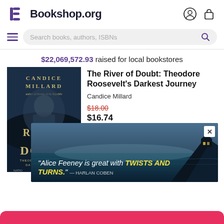Bookshop.org
Search books, authors, ISBNs
$22,069,572.93 raised for local bookstores
[Figure (photo): Book cover of 'The River of Doubt: Theodore Roosevelt's Darkest Journey' by Candice Millard, showing a dark atmospheric cover with a portrait of Theodore Roosevelt]
The River of Doubt: Theodore Roosevelt's Darkest Journey
Candice Millard
$18.00
$16.74
[Figure (photo): Advertisement banner with ocean/coastal scenery at night with a house on a cliff. Text: "Alice Feeney is great with TWISTS AND TURNS." — HARLAN COBEN]